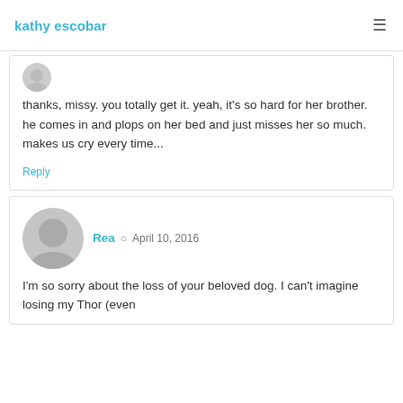kathy escobar
thanks, missy. you totally get it. yeah, it's so hard for her brother. he comes in and plops on her bed and just misses her so much. makes us cry every time...
Reply
Rea  April 10, 2016
I'm so sorry about the loss of your beloved dog. I can't imagine losing my Thor (even